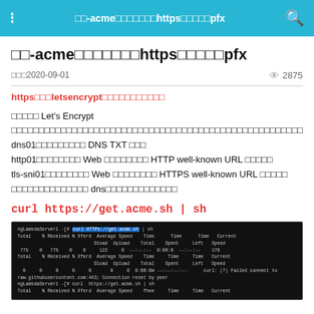□□-acme□□□□□□□https□□□□□pfx
□□-acme□□□□□□□https□□□□□pfx
□□□2020-09-01   👁  2875
https□□□letsencrypt□□□□□□□□□□□
□□□□□ Let's Encrypt □□□□□□□□□□□□□□□□□□□□□□□□□□□□□□□□□□□□□□□□□□□□□□□□□□□□□
dns01□□□□□□□□□ DNS TXT □□□
http01□□□□□□□□ Web □□□□□□□□ HTTP well-known URL □□□□□
tls-sni01□□□□□□□□ Web □□□□□□□□ HTTPS well-known URL □□□□□
□□□□□□□□□□□□□□ dns□□□□□□□□□□□□□
curl https://get.acme.sh | sh
[Figure (screenshot): Terminal screenshot showing curl command output with progress bars and error messages on dark background]